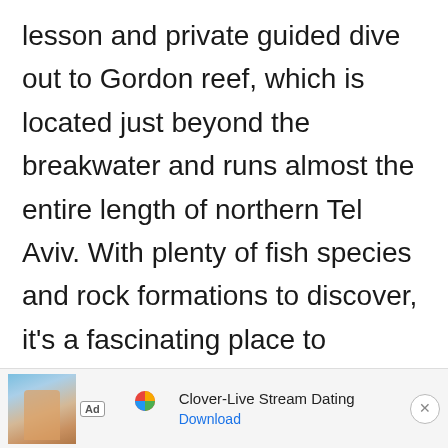lesson and private guided dive out to Gordon reef, which is located just beyond the breakwater and runs almost the entire length of northern Tel Aviv. With plenty of fish species and rock formations to discover, it's a fascinating place to uncover a whole new side to Tel Aviv. If you're already an experienced diver, don't miss diving the Sea Wolf wreck, a former Israeli Navy frigate that sunk in 1993 and now provides the scene for an incredible James Bond-esc
[Figure (other): Advertisement banner: Clover-Live Stream Dating app ad with photo of woman on beach, Clover logo, and Download link]